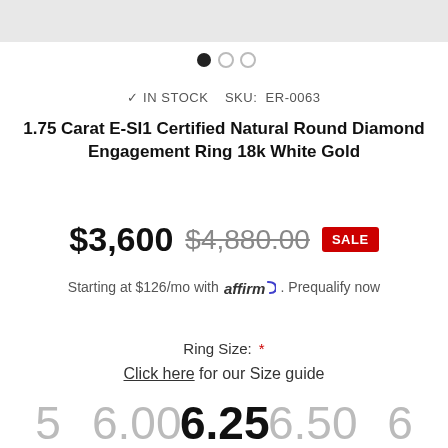[Figure (other): Carousel navigation dots: one filled black, two empty circles]
✓ IN STOCK  SKU: ER-0063
1.75 Carat E-SI1 Certified Natural Round Diamond Engagement Ring 18k White Gold
$3,600  $4,880.00  SALE
Starting at $126/mo with affirm. Prequalify now
Ring Size: *
Click here for our Size guide
5  6.00  6.25  6.50  6